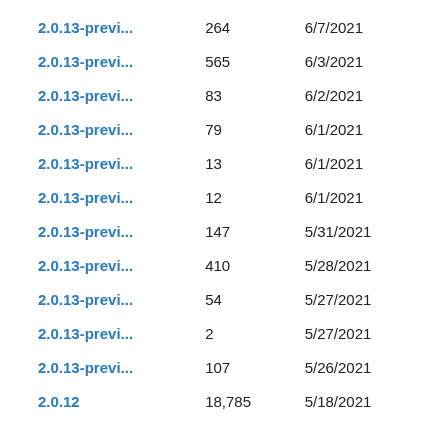| 2.0.13-previ... | 264 | 6/7/2021 |
| 2.0.13-previ... | 565 | 6/3/2021 |
| 2.0.13-previ... | 83 | 6/2/2021 |
| 2.0.13-previ... | 79 | 6/1/2021 |
| 2.0.13-previ... | 13 | 6/1/2021 |
| 2.0.13-previ... | 12 | 6/1/2021 |
| 2.0.13-previ... | 147 | 5/31/2021 |
| 2.0.13-previ... | 410 | 5/28/2021 |
| 2.0.13-previ... | 54 | 5/27/2021 |
| 2.0.13-previ... | 2 | 5/27/2021 |
| 2.0.13-previ... | 107 | 5/26/2021 |
| 2.0.12 | 18,785 | 5/18/2021 |